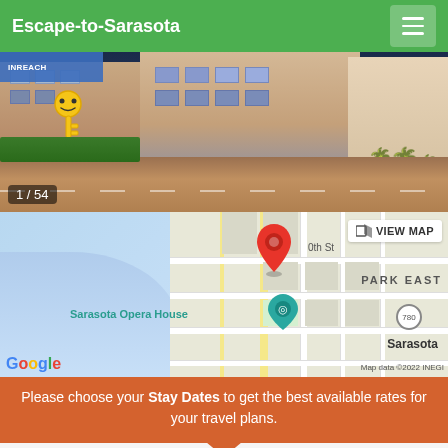Escape-to-Sarasota
[Figure (photo): Hotel exterior photo at night, showing building facade with palm trees and a street in Sarasota. Image counter shows 1 / 54.]
[Figure (map): Google Maps view of Sarasota area showing the hotel location pin, Sarasota Opera House, Park East area, and map copyright text 'Map data ©2022 INEGI'. Includes VIEW MAP button.]
Please choose your Stay Dates to get the best available rates for your travel plans.
Enter Travel Details
Stay Dates
Check In  >  Check Out